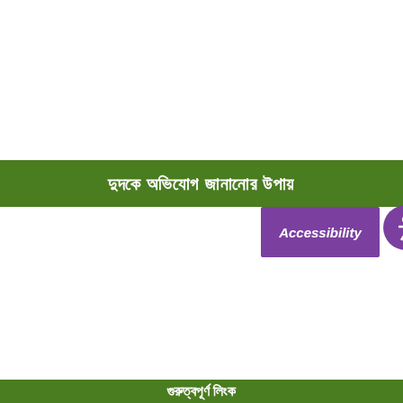দুদকে অভিযোগ জানানোর উপায়
[Figure (screenshot): Purple Accessibility button with human figure icon]
গুরুত্বপূর্ণ লিংক